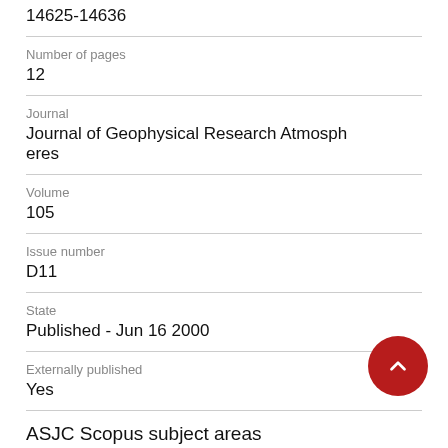14625-14636
Number of pages
12
Journal
Journal of Geophysical Research Atmospheres
Volume
105
Issue number
D11
State
Published - Jun 16 2000
Externally published
Yes
ASJC Scopus subject areas